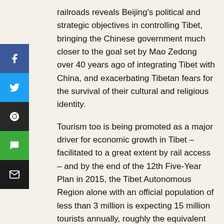railroads reveals Beijing's political and strategic objectives in controlling Tibet, bringing the Chinese government much closer to the goal set by Mao Zedong over 40 years ago of integrating Tibet with China, and exacerbating Tibetan fears for the survival of their cultural and religious identity.
Tourism too is being promoted as a major driver for economic growth in Tibet – facilitated to a great extent by rail access – and by the end of the 12th Five-Year Plan in 2015, the Tibet Autonomous Region alone with an official population of less than 3 million is expecting 15 million tourists annually, roughly the equivalent number of tourists visiting London each year.